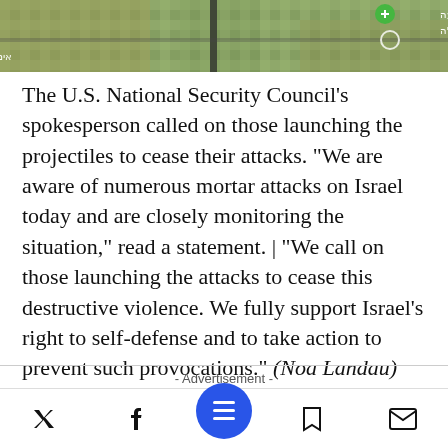[Figure (photo): Aerial/satellite map view with Hebrew text labels and road markings]
The U.S. National Security Council's spokesperson called on those launching the projectiles to cease their attacks. "We are aware of numerous mortar attacks on Israel today and are closely monitoring the situation," read a statement. | "We call on those launching the attacks to cease this destructive violence. We fully support Israel's right to self-defense and to take action to prevent such provocations." (Noa Landau)
- Advertisement -
Twitter | Facebook | Menu | Bookmark | Email